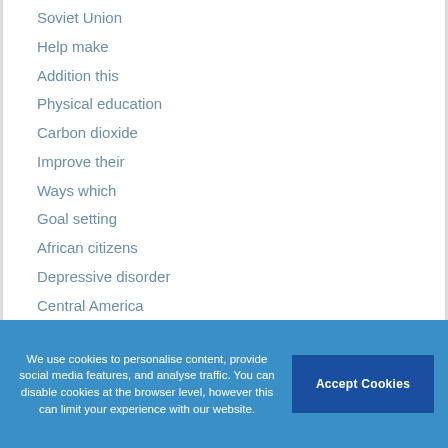Soviet Union
Help make
Addition this
Physical education
Carbon dioxide
Improve their
Ways which
Goal setting
African citizens
Depressive disorder
Central America
Credit card
We use cookies to personalise content, provide social media features, and analyse traffic. You can disable cookies at the browser level, however this can limit your experience with our website.
Accept Cookies